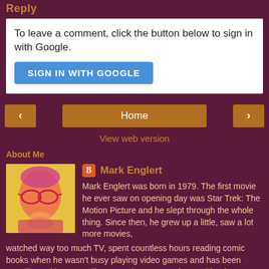Reply
To leave a comment, click the button below to sign in with Google.
SIGN IN WITH GOOGLE
Home
View web version
About Me
[Figure (photo): Profile photo of Mark Englert: pop-art style illustration with yellow background and red/magenta tones]
Mark Englert
Mark Englert was born in 1979. The first movie he ever saw on opening day was Star Trek: The Motion Picture and he slept through the whole thing. Since then, he grew up a little, saw a lot more movies, watched way too much TV, spent countless hours reading comic books when he wasn't busy playing video games and has been steadily working as an illustrator since 1999. After working for